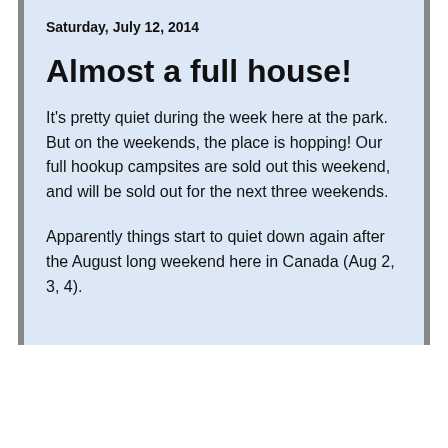Saturday, July 12, 2014
Almost a full house!
It's pretty quiet during the week here at the park. But on the weekends, the place is hopping! Our full hookup campsites are sold out this weekend, and will be sold out for the next three weekends.
Apparently things start to quiet down again after the August long weekend here in Canada (Aug 2, 3, 4).